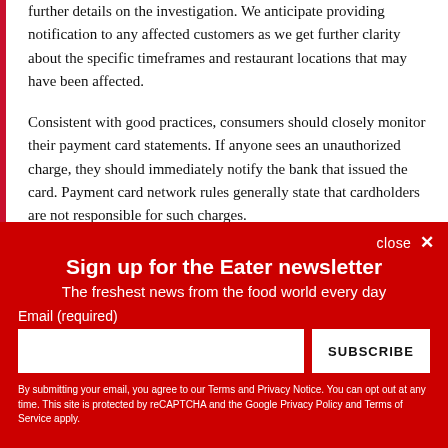further details on the investigation. We anticipate providing notification to any affected customers as we get further clarity about the specific timeframes and restaurant locations that may have been affected.
Consistent with good practices, consumers should closely monitor their payment card statements. If anyone sees an unauthorized charge, they should immediately notify the bank that issued the card. Payment card network rules generally state that cardholders are not responsible for such charges.
Sign up for the Eater newsletter
The freshest news from the food world every day
Email (required)
SUBSCRIBE
By submitting your email, you agree to our Terms and Privacy Notice. You can opt out at any time. This site is protected by reCAPTCHA and the Google Privacy Policy and Terms of Service apply.